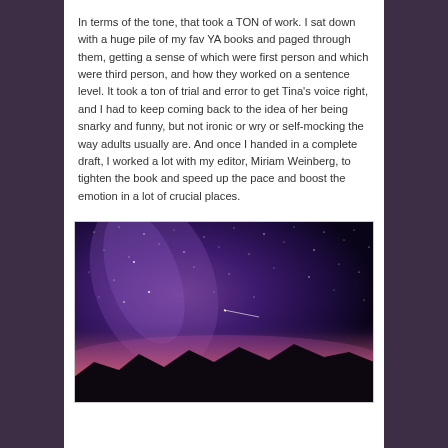In terms of the tone, that took a TON of work. I sat down with a huge pile of my fav YA books and paged through them, getting a sense of which were first person and which were third person, and how they worked on a sentence level. It took a ton of trial and error to get Tina's voice right, and I had to keep coming back to the idea of her being snarky and funny, but not ironic or wry or self-mocking the way adults usually are. And once I handed in a complete draft, I worked a lot with my editor, Miriam Weinberg, to tighten the book and speed up the pace and boost the emotion in a lot of crucial places.
[Figure (photo): Night sky photograph showing the Milky Way galaxy with purple and violet hues, stars scattered across the sky, a shooting star/meteor streak visible in the middle, and a warm orange/pink glow on the horizon with dark silhouetted mountains at the bottom.]